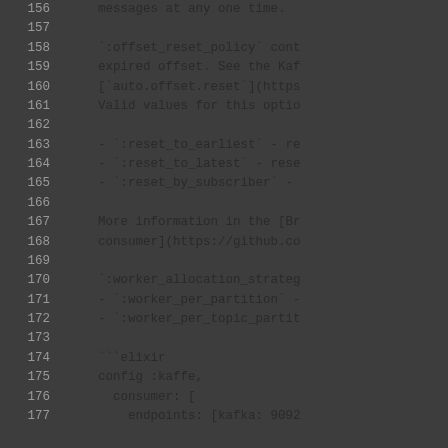Code listing lines 156-177 showing Kafka consumer configuration documentation with offset reset policy options and worker allocation strategy settings in Elixir/Kaffe config format.